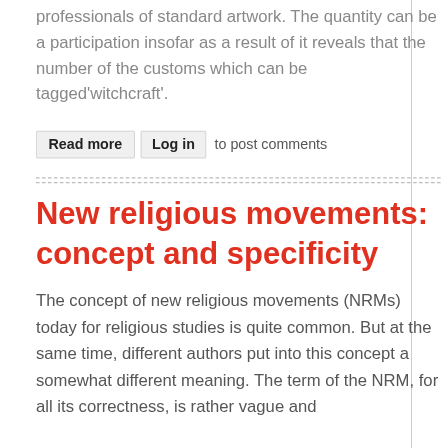professionals of standard artwork. The quantity can be a participation insofar as a result of it reveals that the number of the customs which can be tagged'witchcraft'.
Read more  Log in  to post comments
New religious movements: concept and specificity
The concept of new religious movements (NRMs) today for religious studies is quite common. But at the same time, different authors put into this concept a somewhat different meaning. The term of the NRM, for all its correctness, is rather vague and